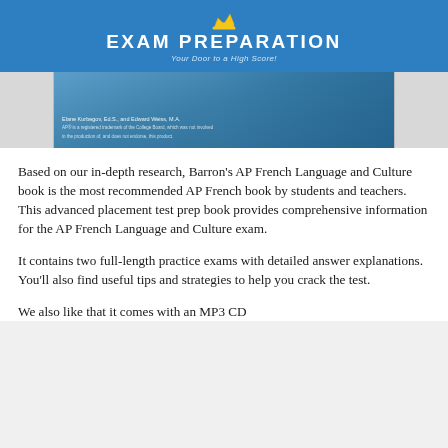EXAM PREPARATION
Your Door to a High Score!
[Figure (photo): Book cover image of Barron's AP French Language and Culture, showing authors Elane Kurbegov, Ed.S., and Edward Weiss, M.A., with a student writing in the background]
Based on our in-depth research, Barron's AP French Language and Culture book is the most recommended AP French book by students and teachers. This advanced placement test prep book provides comprehensive information for the AP French Language and Culture exam.
It contains two full-length practice exams with detailed answer explanations. You'll also find useful tips and strategies to help you crack the test.
We also like that it comes with an MP3 CD containing the practice audio and...